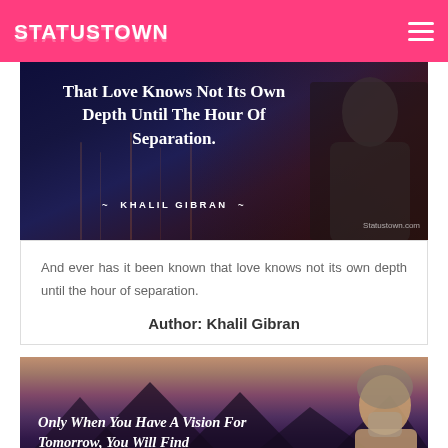STATUSTOWN
[Figure (illustration): Quote image with dark night water background and silhouette of a man. Text: 'That Love Knows Not Its Own Depth Until The Hour Of Separation.' ~ KHALIL GIBRAN ~ Statustown.com]
And ever has it been known that love knows not its own depth until the hour of separation.
Author: Khalil Gibran
[Figure (illustration): Quote image with purple mountain landscape background and image of a man with grey beard. Text starts: 'Only When You Have A Vision For Tomorrow, You Will Find']